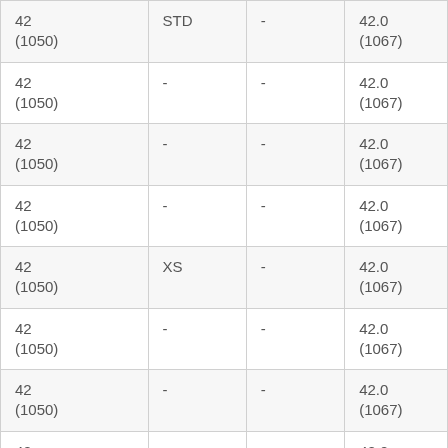| 42
(1050) | STD | - | 42.0
(1067) |
| 42
(1050) | - | - | 42.0
(1067) |
| 42
(1050) | - | - | 42.0
(1067) |
| 42
(1050) | - | - | 42.0
(1067) |
| 42
(1050) | XS | - | 42.0
(1067) |
| 42
(1050) | - | - | 42.0
(1067) |
| 42
(1050) | - | - | 42.0
(1067) |
| 42
(1050) | - | - | 42.0
(1067) |